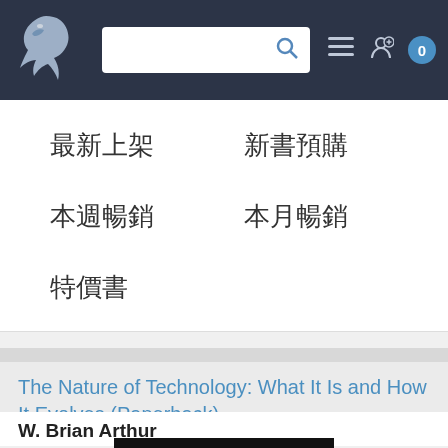[Figure (screenshot): Website navigation bar with dragon logo, search box, menu icon, user icon, and cart badge showing 0]
最新上架
新書預購
本週暢銷
本月暢銷
特價書
The Nature of Technology: What It Is and How It Evolves (Paperback)
W. Brian Arthur
[Figure (photo): Book cover of 'The Nature of Technology' showing title text on dark background with a blurb quote at top]